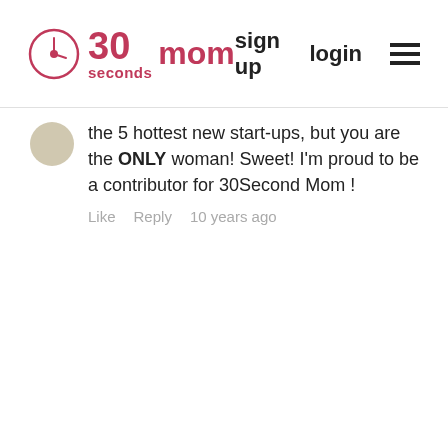30 seconds mom | sign up | login
the 5 hottest new start-ups, but you are the ONLY woman! Sweet! I'm proud to be a contributor for 30Second Mom !
Like   Reply   10 years ago